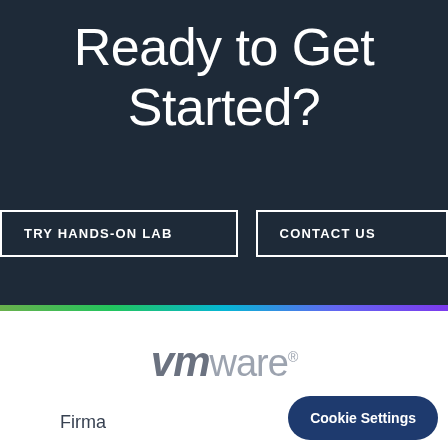Ready to Get Started?
TRY HANDS-ON LAB
CONTACT US
[Figure (logo): VMware logo in gray tones]
Firma
Cookie Settings